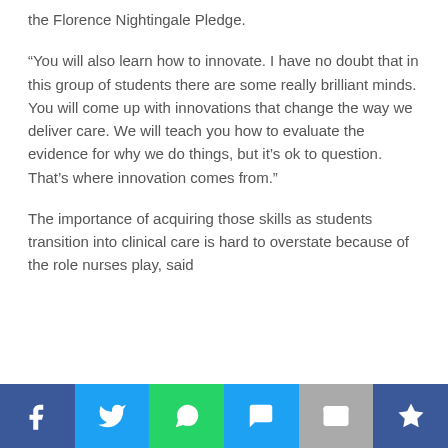the Florence Nightingale Pledge.
“You will also learn how to innovate. I have no doubt that in this group of students there are some really brilliant minds. You will come up with innovations that change the way we deliver care. We will teach you how to evaluate the evidence for why we do things, but it’s ok to question. That’s where innovation comes from.”
The importance of acquiring those skills as students transition into clinical care is hard to overstate because of the role nurses play, said
[Figure (infographic): Social sharing bar with six buttons: Facebook (dark blue, f icon), Twitter (light blue, bird icon), WhatsApp (green, phone icon), SMS (light blue, speech bubble icon), Email (grey, envelope icon), Crown/bookmark (dark blue, crown icon)]